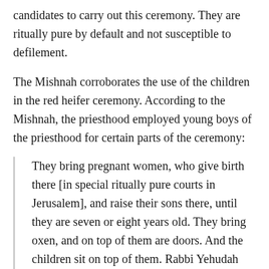candidates to carry out this ceremony. They are ritually pure by default and not susceptible to defilement.
The Mishnah corroborates the use of the children in the red heifer ceremony. According to the Mishnah, the priesthood employed young boys of the priesthood for certain parts of the ceremony:
They bring pregnant women, who give birth there [in special ritually pure courts in Jerusalem], and raise their sons there, until they are seven or eight years old. They bring oxen, and on top of them are doors. And the children sit on top of them. Rabbi Yehudah says, “Oxen with broad bellies, so that the feet of the children do not extend and become unclean by